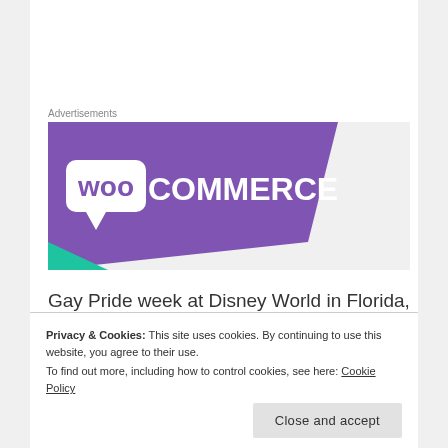Advertisements
[Figure (logo): WooCommerce advertisement banner with purple diagonal shape and white WooCommerce logo on light grey background]
Gay Pride week at Disney World in Florida, Migraines and a guilt-ridden mate on his tail, it proves to be an interesting vacation for Dave Maldonado. Dana Marie Bell did a great job as she covered a lot of
Privacy & Cookies: This site uses cookies. By continuing to use this website, you agree to their use.
To find out more, including how to control cookies, see here: Cookie Policy
Close and accept
a bedroom between to consenting adults is no